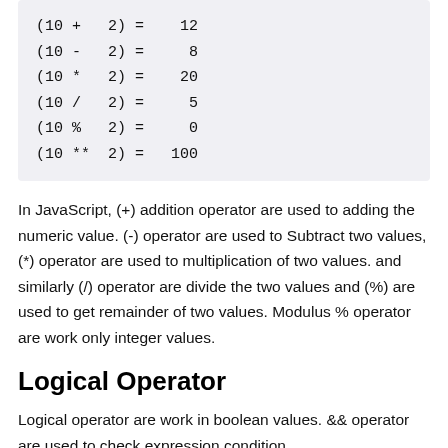(10 +  2) =   12
(10 -  2) =    8
(10 *  2) =   20
(10 /  2) =    5
(10 %  2) =    0
(10 ** 2) =  100
In JavaScript, (+) addition operator are used to adding the numeric value. (-) operator are used to Subtract two values, (*) operator are used to multiplication of two values. and similarly (/) operator are divide the two values and (%) are used to get remainder of two values. Modulus % operator are work only integer values.
Logical Operator
Logical operator are work in boolean values. && operator are used to check expression condition